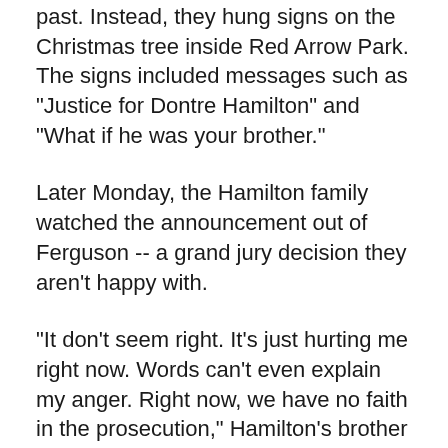past. Instead, they hung signs on the Christmas tree inside Red Arrow Park. The signs included messages such as "Justice for Dontre Hamilton" and "What if he was your brother."
Later Monday, the Hamilton family watched the announcement out of Ferguson -- a grand jury decision they aren't happy with.
"It don't seem right. It's just hurting me right now. Words can't even explain my anger. Right now, we have no faith in the prosecution," Hamilton's brother Nate said.
The Hamilton family's attorney says while the Ferguson decision came after three-and-a-half months, and the decision on whether Christopher Manney will